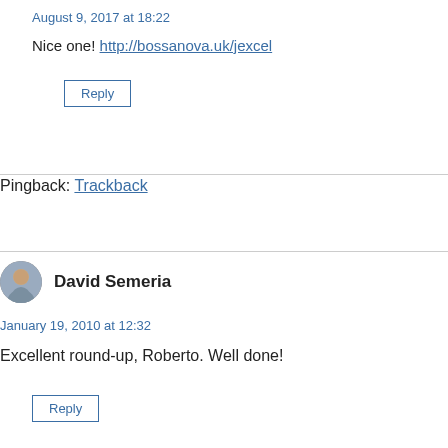August 9, 2017 at 18:22
Nice one! http://bossanova.uk/jexcel
Reply
Pingback: Trackback
David Semeria
January 19, 2010 at 12:32
Excellent round-up, Roberto. Well done!
Reply